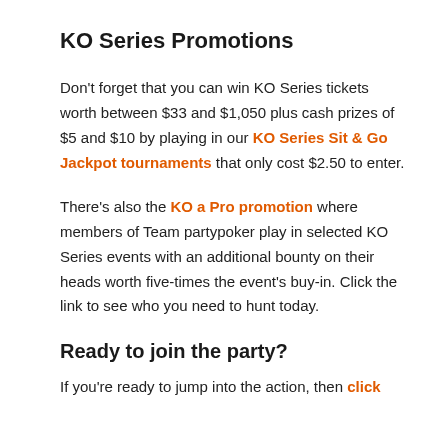KO Series Promotions
Don't forget that you can win KO Series tickets worth between $33 and $1,050 plus cash prizes of $5 and $10 by playing in our KO Series Sit & Go Jackpot tournaments that only cost $2.50 to enter.
There's also the KO a Pro promotion where members of Team partypoker play in selected KO Series events with an additional bounty on their heads worth five-times the event's buy-in. Click the link to see who you need to hunt today.
Ready to join the party?
If you're ready to jump into the action, then click